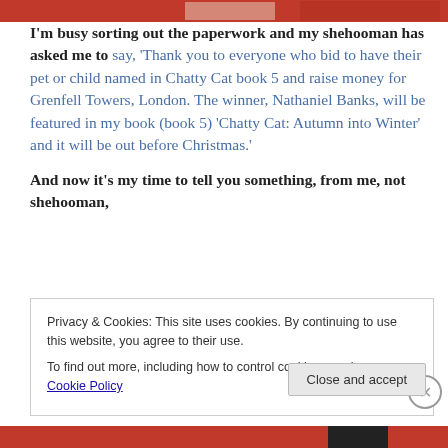[Figure (photo): Partial top image strip showing red/festive background, cropped at top of page]
I'm busy sorting out the paperwork and my shehooman has asked me to say, ‘Thank you to everyone who bid to have their pet or child named in Chatty Cat book 5 and raise money for Grenfell Towers, London. The winner, Nathaniel Banks, will be featured in my book (book 5) ‘Chatty Cat: Autumn into Winter’ and it will be out before Christmas.’
And now it's my time to tell you something, from me, not shehooman,
Privacy & Cookies: This site uses cookies. By continuing to use this website, you agree to their use.
To find out more, including how to control cookies, see here: Cookie Policy
Close and accept